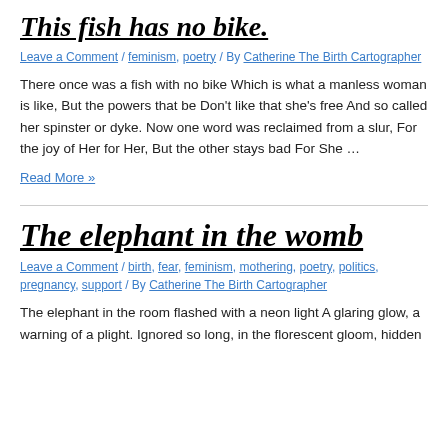This fish has no bike.
Leave a Comment / feminism, poetry / By Catherine The Birth Cartographer
There once was a fish with no bike Which is what a manless woman is like, But the powers that be Don’t like that she’s free And so called her spinster or dyke. Now one word was reclaimed from a slur, For the joy of Her for Her, But the other stays bad For She …
Read More »
The elephant in the womb
Leave a Comment / birth, fear, feminism, mothering, poetry, politics, pregnancy, support / By Catherine The Birth Cartographer
The elephant in the room flashed with a neon light A glaring glow, a warning of a plight. Ignored so long, in the florescent gloom, hidden